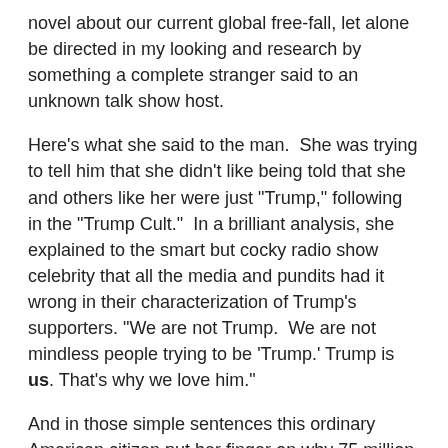novel about our current global free-fall, let alone be directed in my looking and research by something a complete stranger said to an unknown talk show host.
Here's what she said to the man.  She was trying to tell him that she didn't like being told that she and others like her were just "Trump," following in the "Trump Cult."  In a brilliant analysis, she explained to the smart but cocky radio show celebrity that all the media and pundits had it wrong in their characterization of Trump's supporters. "We are not Trump.  We are not mindless people trying to be 'Trump.' Trump is us. That's why we love him."
And in those simple sentences this ordinary American citizen put her finger on why 75 million Americans voted for him, and why his supporters still stay united and determined.  You may not understand this, but his supporters do.  Trump took the time to listen to the citizens of this country—no matter what party or status